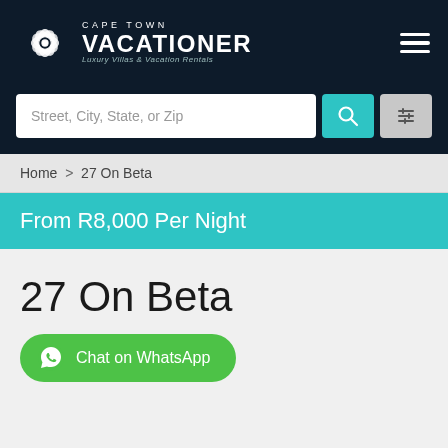[Figure (logo): Cape Town Vacationer logo with flower/mandala icon and text 'CAPE TOWN VACATIONER Luxury Villas & Vacation Rentals']
Street, City, State, or Zip
Home > 27 On Beta
From R8,000 Per Night
27 On Beta
Chat on WhatsApp